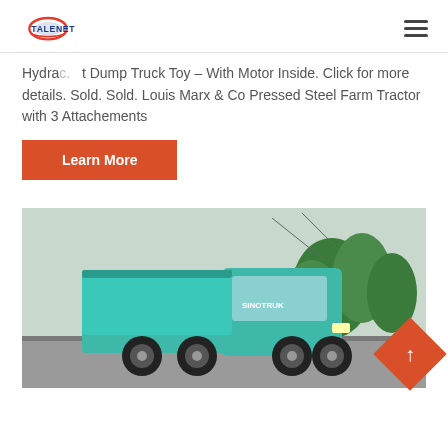TALENET
Hydraulic Dump Truck Toy – With Motor Inside. Click for more details. Sold. Sold. Louis Marx & Co Pressed Steel Farm Tractor with 3 Attachements
Learn More
[Figure (photo): A teal/turquoise heavy-duty dump truck (SINOTRUK HOWO) driving on a road with trees and power lines in the background.]